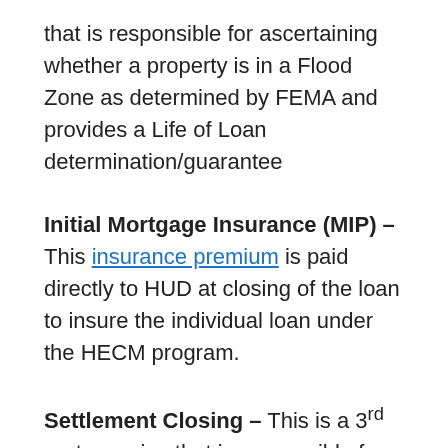that is responsible for ascertaining whether a property is in a Flood Zone as determined by FEMA and provides a Life of Loan determination/guarantee
Initial Mortgage Insurance (MIP) – This insurance premium is paid directly to HUD at closing of the loan to insure the individual loan under the HECM program.
Settlement Closing – This is a 3rd party service that is responsible for handling the settlement or closing of the loan. They work with the title company to get the public records information,